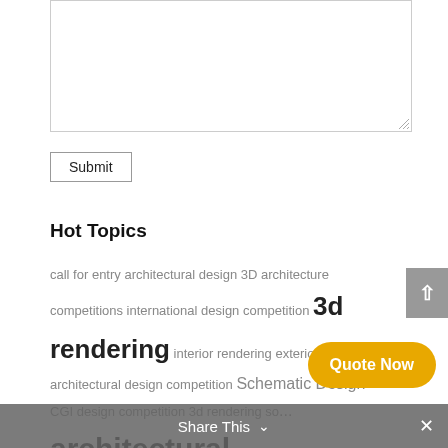[Figure (screenshot): Empty textarea input box with resize handle at bottom right]
Submit
Hot Topics
call for entry architectural design 3D architecture competitions international design competition 3d rendering interior rendering exterior rendering architectural design competition Schematic Design CGI design competition 3d rendering so... architectural visualization 3d... g services hospital project international bidding
[Figure (screenshot): Grey scroll-up arrow button on the right side]
[Figure (screenshot): Orange Quote Now button at bottom right]
[Figure (screenshot): Share This bar at the bottom of the page with chevron and close X]